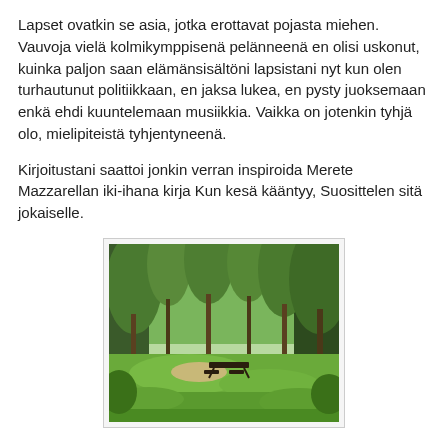Lapset ovatkin se asia, jotka erottavat pojasta miehen. Vauvoja vielä kolmikymppisenä pelänneenä en olisi uskonut, kuinka paljon saan elämänsisältöni lapsistani nyt kun olen turhautunut politiikkaan, en jaksa lukea, en pysty juoksemaan enkä ehdi kuuntelemaan musiikkia. Vaikka on jotenkin tyhjä olo, mielipiteistä tyhjentyneenä.
Kirjoitustani saattoi jonkin verran inspiroida Merete Mazzarellan iki-ihana kirja Kun kesä kääntyy, Suosittelen sitä jokaiselle.
[Figure (photo): Outdoor forest scene with lush green trees and grass, a picnic table visible in the middle distance on a grassy clearing.]